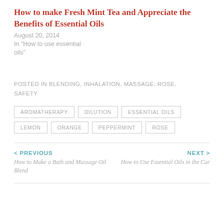How to make Fresh Mint Tea and Appreciate the Benefits of Essential Oils
August 20, 2014
In "How to use essential oils"
POSTED IN BLENDING, INHALATION, MASSAGE, ROSE, SAFETY
AROMATHERAPY
DILUTION
ESSENTIAL OILS
LEMON
ORANGE
PEPPERMINT
ROSE
< PREVIOUS
How to Make a Bath and Massage Oil Blend
NEXT >
How to Use Essential Oils in the Car